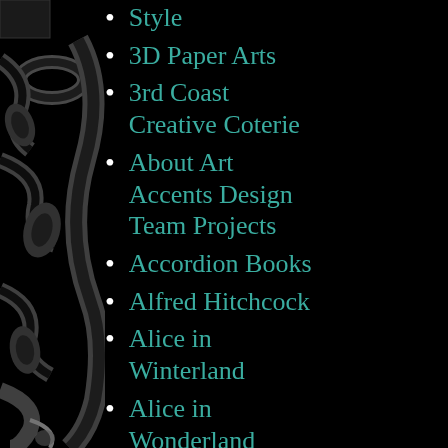[Figure (illustration): Decorative black and dark grey floral/damask scrollwork border on the left side of the page]
Style
3D Paper Arts
3rd Coast Creative Coterie
About Art Accents Design Team Projects
Accordion Books
Alfred Hitchcock
Alice in Winterland
Alice in Wonderland
Altered Altoids Tins
Altered Art